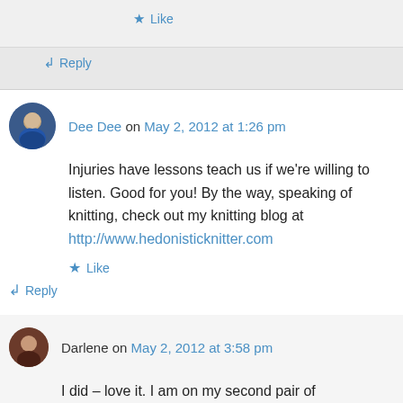Like
Reply
Dee Dee on May 2, 2012 at 1:26 pm
Injuries have lessons teach us if we're willing to listen. Good for you! By the way, speaking of knitting, check out my knitting blog at http://www.hedonisticknitter.com
Like
Reply
Darlene on May 2, 2012 at 3:58 pm
I did – love it. I am on my second pair of